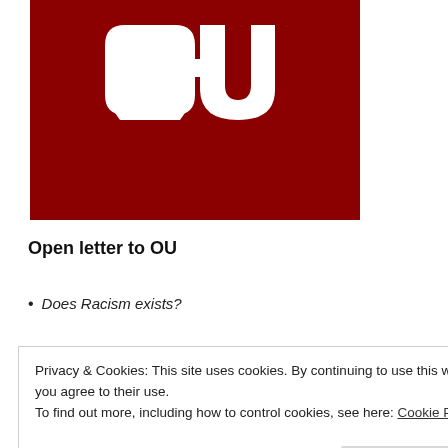[Figure (logo): University of Oklahoma interlocking OU logo in white on a dark red/crimson background]
Open letter to OU
Does Racism exists?
Privacy & Cookies: This site uses cookies. By continuing to use this website, you agree to their use. To find out more, including how to control cookies, see here: Cookie Policy
Close and accept